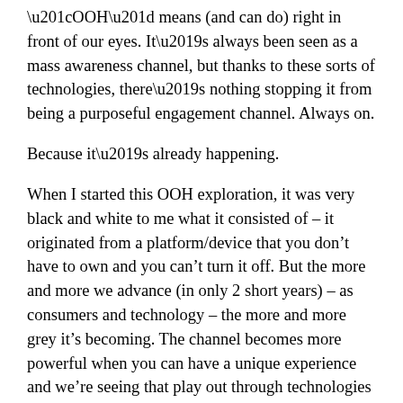“OOH” means (and can do) right in front of our eyes. It’s always been seen as a mass awareness channel, but thanks to these sorts of technologies, there’s nothing stopping it from being a purposeful engagement channel. Always on.
Because it’s already happening.
When I started this OOH exploration, it was very black and white to me what it consisted of – it originated from a platform/device that you don’t have to own and you can’t turn it off. But the more and more we advance (in only 2 short years) – as consumers and technology – the more and more grey it’s becoming. The channel becomes more powerful when you can have a unique experience and we’re seeing that play out through technologies like Sync, and technologies that bridge the offline with the online, and technologies that can be controlled through simple gestures – it is becoming an active engagement channel, not something that houses a display that you simply can’t turn